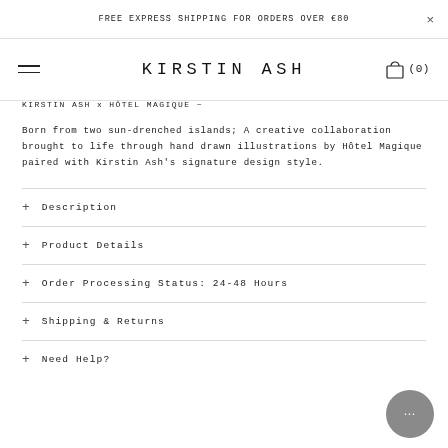FREE EXPRESS SHIPPING FOR ORDERS OVER €80
[Figure (logo): Kirstin Ash logo with hamburger menu on left and shopping bag icon with (0) on right]
KIRSTIN ASH x HÔTEL MAGIQUE ~
Born from two sun-drenched islands; A creative collaboration brought to life through hand drawn illustrations by Hôtel Magique paired with Kirstin Ash's signature design style.
+ Description
+ Product Details
+ Order Processing Status: 24-48 Hours
+ Shipping & Returns
+ Need Help?